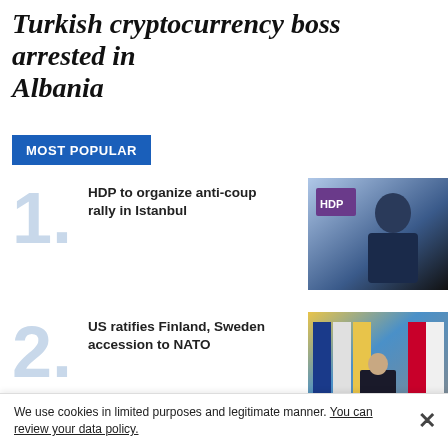Turkish cryptocurrency boss arrested in Albania
MOST POPULAR
1. HDP to organize anti-coup rally in Istanbul
2. US ratifies Finland, Sweden accession to NATO
3. THY, Trendyol sign cooperation deal
We use cookies in limited purposes and legitimate manner. You can review your data policy.